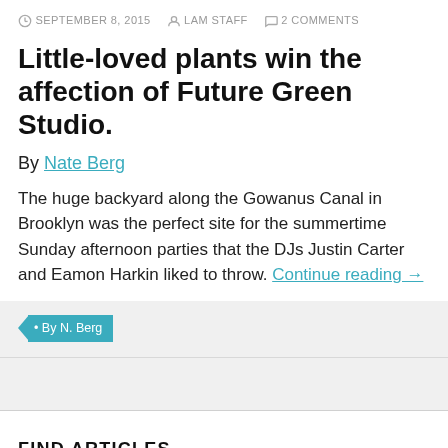SEPTEMBER 8, 2015   LAM STAFF   2 COMMENTS
Little-loved plants win the affection of Future Green Studio.
By Nate Berg
The huge backyard along the Gowanus Canal in Brooklyn was the perfect site for the summertime Sunday afternoon parties that the DJs Justin Carter and Eamon Harkin liked to throw. Continue reading →
• By N. Berg
FIND ARTICLES